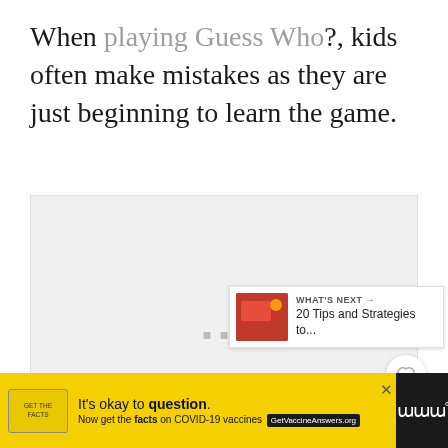When playing Guess Who?, kids often make mistakes as they are just beginning to learn the game.
[Figure (photo): Large light gray placeholder image box for a photo or video embed, with three small gray squares at the bottom center acting as navigation dots. A heart/like button, count badge showing 1, and share button are overlaid on the right side.]
WHAT'S NEXT → 20 Tips and Strategies to...
It's okay to question. Now get the facts on COVID-19 vaccines GetVaccineAnswers.org